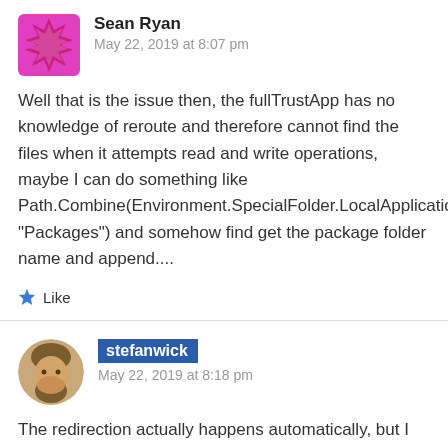Sean Ryan
May 22, 2019 at 8:07 pm
Well that is the issue then, the fullTrustApp has no knowledge of reroute and therefore cannot find the files when it attempts read and write operations, maybe I can do something like Path.Combine(Environment.SpecialFolder.LocalApplicationData, "Packages") and somehow find get the package folder name and append....
Like
stefanwick
May 22, 2019 at 8:18 pm
The redirection actually happens automatically, but I think that might be throwing you off as your